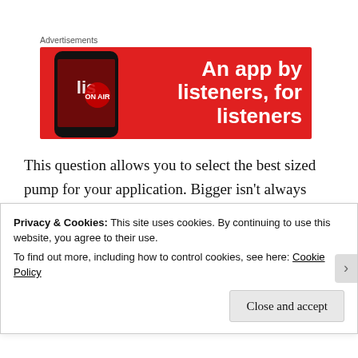Advertisements
[Figure (screenshot): Red advertisement banner for a listening app. Shows a smartphone on the left with the app open, and bold white text on the right reading 'An app by listeners, for listeners']
This question allows you to select the best sized pump for your application. Bigger isn't always better. A pump that is too large or has too high of a flow capacity for a given application is difficult to control, terribly inefficient and
Privacy & Cookies: This site uses cookies. By continuing to use this website, you agree to their use.
To find out more, including how to control cookies, see here: Cookie Policy
Close and accept